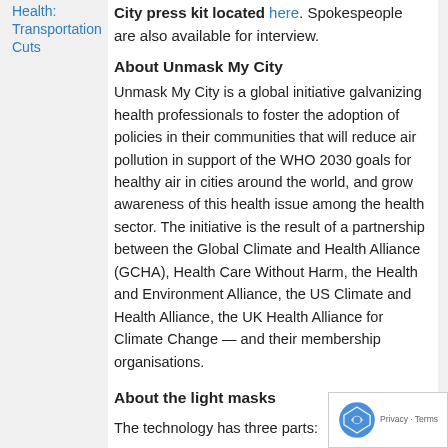Health: Transportation Cuts
City press kit located here. Spokespeople are also available for interview.
About Unmask My City
Unmask My City is a global initiative galvanizing health professionals to foster the adoption of policies in their communities that will reduce air pollution in support of the WHO 2030 goals for healthy air in cities around the world, and grow awareness of this health issue among the health sector. The initiative is the result of a partnership between the Global Climate and Health Alliance (GCHA), Health Care Without Harm, the Health and Environment Alliance, the US Climate and Health Alliance, the UK Health Alliance for Climate Change — and their membership organisations.
About the light masks
The technology has three parts:
1. An AirBeam air quality monitor made by US NGO HabitatMap...